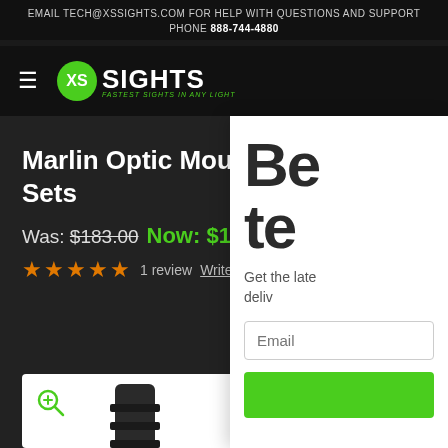EMAIL TECH@XSSIGHTS.COM FOR HELP WITH QUESTIONS AND SUPPORT
PHONE 888-744-4880
[Figure (logo): XS Sights logo with green circle, white X and S, text XS SIGHTS with tagline FASTEST SIGHTS IN ANY LIGHT]
Marlin Optic Mounts & Ghost Ring Sets
Was: $183.00 Now: $164.99
1 review  Write a Review
[Figure (photo): Product photo of black Marlin optic rail mount with ridged surface on white background with zoom icon]
Be
te
Get the late
deliv
Email
Subscribe button (green)